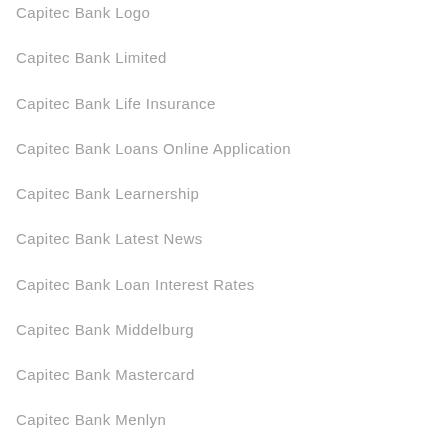Capitec Bank Logo
Capitec Bank Limited
Capitec Bank Life Insurance
Capitec Bank Loans Online Application
Capitec Bank Learnership
Capitec Bank Latest News
Capitec Bank Loan Interest Rates
Capitec Bank Middelburg
Capitec Bank Mastercard
Capitec Bank Menlyn
Capitec Bank Mall Of Africa